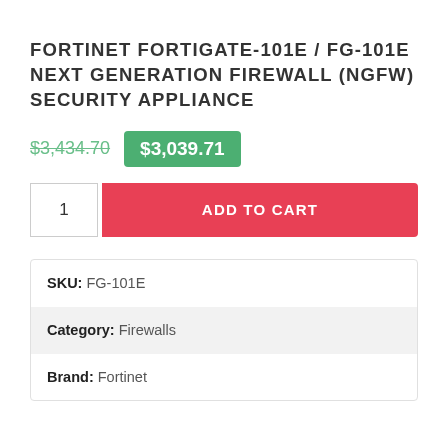FORTINET FORTIGATE-101E / FG-101E NEXT GENERATION FIREWALL (NGFW) SECURITY APPLIANCE
$3,434.70  $3,039.71
1  ADD TO CART
| Field | Value |
| --- | --- |
| SKU: | FG-101E |
| Category: | Firewalls |
| Brand: | Fortinet |